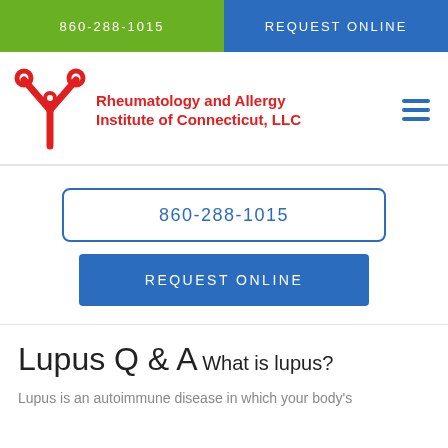860-288-1015
REQUEST ONLINE
[Figure (logo): Rheumatology and Allergy Institute of Connecticut, LLC logo — red antibody/Y-shaped figure with red bold text name]
860-288-1015
REQUEST ONLINE
Lupus Q & A
What is lupus?
Lupus is an autoimmune disease in which your body's